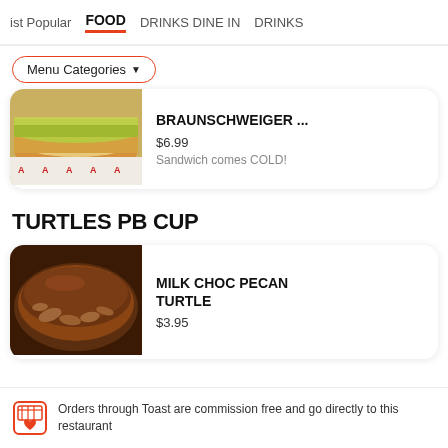ist Popular   FOOD   DRINKS DINE IN   DRINKS
Menu Categories ▼
[Figure (photo): Photo of a cold deli sub sandwich with shredded lettuce on a bun, placed on branded sandwich wrapping paper]
BRAUNSCHWEIGER ...
$6.99
Sandwich comes COLD!
TURTLES PB CUP
[Figure (photo): Photo of a chocolate pecan turtle candy/treat covered in milk chocolate with pecans visible]
MILK CHOC PECAN TURTLE
$3.95
Orders through Toast are commission free and go directly to this restaurant